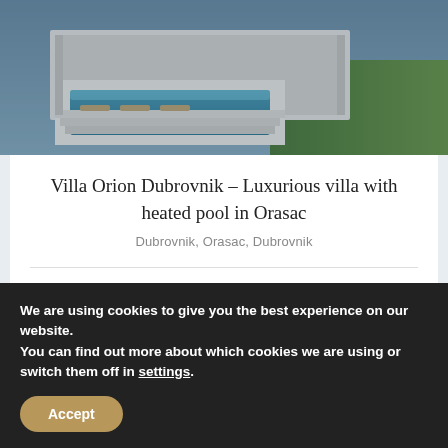[Figure (photo): Aerial/exterior photo of a luxury villa with a white illuminated pool, steps, and green lawn at dusk]
Villa Orion Dubrovnik – Luxurious villa with heated pool in Orasac
Dubrovnik, Orasac, Dubrovnik
|  |  |
| --- | --- |
| Bedrooms | 4 |
| Bathrooms | 4 |
| m² | 840 |
| Number of guests | 8 |
We are using cookies to give you the best experience on our website.
You can find out more about which cookies we are using or switch them off in settings.
Accept